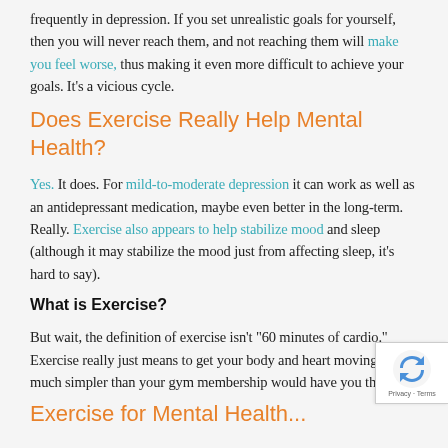frequently in depression. If you set unrealistic goals for yourself, then you will never reach them, and not reaching them will make you feel worse, thus making it even more difficult to achieve your goals. It's a vicious cycle.
Does Exercise Really Help Mental Health?
Yes. It does. For mild-to-moderate depression it can work as well as an antidepressant medication, maybe even better in the long-term. Really. Exercise also appears to help stabilize mood and sleep (although it may stabilize the mood just from affecting sleep, it's hard to say).
What is Exercise?
But wait, the definition of exercise isn't "60 minutes of cardio." Exercise really just means to get your body and heart moving. It's so much simpler than your gym membership would have you think.
Exercise for Mental Health...